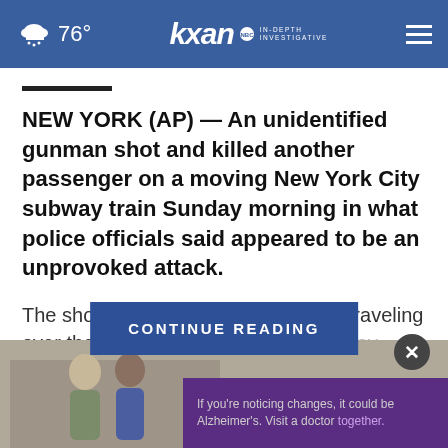76° kxan IN-DEPTH INVESTIGATIVE
NEW YORK (AP) — An unidentified gunman shot and killed another passenger on a moving New York City subway train Sunday morning in what police officials said appeared to be an unprovoked attack.
The shooting happened on a Q train traveling over the Manhattan Bridge at a time of day when...
CONTINUE READING
[Figure (photo): Advertisement showing two people with Alzheimer's awareness message: If you're noticing changes, it could be Alzheimer's. Visit a doctor together.]